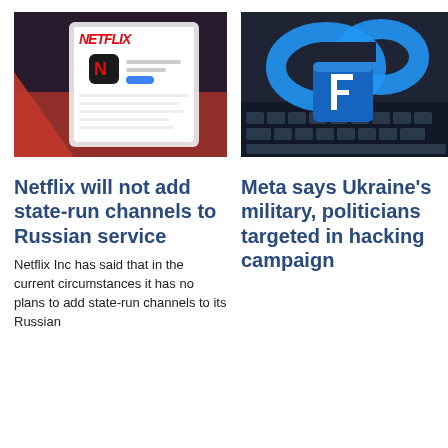[Figure (photo): Netflix app interface on a smartphone showing the Netflix logo (red N) and Twitter profile page for Netflix]
[Figure (photo): Blue 3D Facebook logo (f) in front of a blue infinity/cloud shape on a dark keyboard background]
Netflix will not add state-run channels to Russian service
Meta says Ukraine's military, politicians targeted in hacking campaign
Netflix Inc has said that in the current circumstances it has no plans to add state-run channels to its Russian